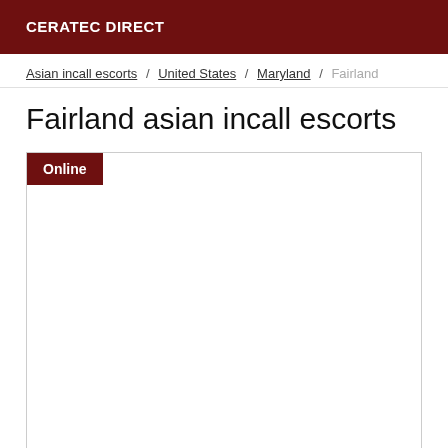CERATEC DIRECT
Asian incall escorts / United States / Maryland / Fairland
Fairland asian incall escorts
[Figure (other): Listing card with an Online badge in dark red, content area is blank/white]